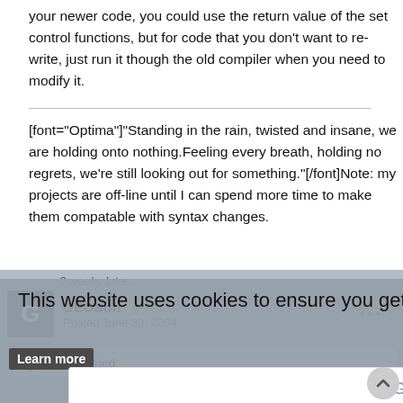your newer code, you could use the return value of the set control functions, but for code that you don't want to re-write, just run it though the old compiler when you need to modify it.
[font="Optima"]"Standing in the rain, twisted and insane, we are holding onto nothing.Feeling every breath, holding no regrets, we're still looking out for something."[/font]Note: my projects are off-line until I can spend more time to make them compatable with syntax changes.
2 weeks later...
This website uses cookies to ensure you get the best experience on our website.
Learn more
GEOSoft  +70
Posted June 30, 2004
Got it!
pekster said: